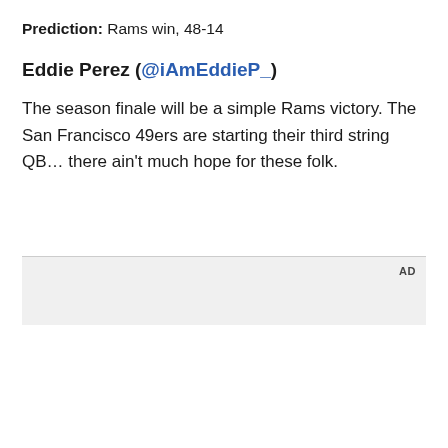Prediction: Rams win, 48-14
Eddie Perez (@iAmEddieP_)
The season finale will be a simple Rams victory. The San Francisco 49ers are starting their third string QB… there ain't much hope for these folk.
[Figure (screenshot): Advertisement video thumbnail showing a person holding a phone in a car interior with text 'Unfold your world' and a play button overlay. AD label in top right corner.]